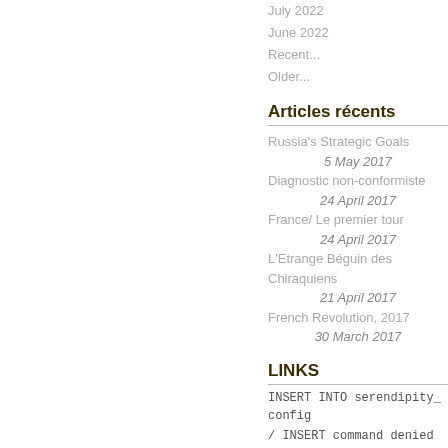July 2022
June 2022
Recent...
Older...
Articles récents
Russia's Strategic Goals
5 May 2017
Diagnostic non-conformiste
24 April 2017
France/ Le premier tour
24 April 2017
L'Etrange Béguin des Chiraquiens
21 April 2017
French Revolution, 2017
30 March 2017
LINKS
INSERT INTO serendipity_config
/ INSERT command denied to user
Al-Monitor
Algemeiner
American Center for Democracy
American Thinker